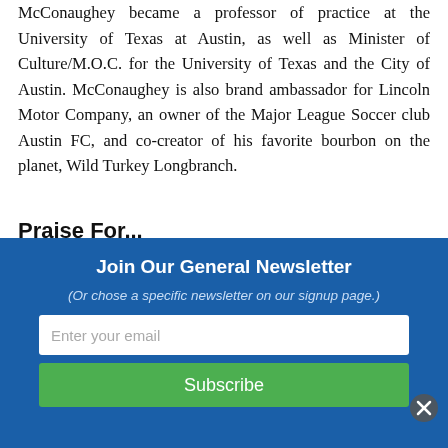McConaughey became a professor of practice at the University of Texas at Austin, as well as Minister of Culture/M.O.C. for the University of Texas and the City of Austin. McConaughey is also brand ambassador for Lincoln Motor Company, an owner of the Major League Soccer club Austin FC, and co-creator of his favorite bourbon on the planet, Wild Turkey Longbranch.
Praise For...
“Matthew McConaughey’s book is exactly what we needed after the frenzy of Campaign 2020. . . . [A] much-needed breather . . . [and] a recuperative journey . . . it is both calming and
[Figure (other): Newsletter signup modal overlay with blue background. Contains title 'Join Our General Newsletter', subtitle '(Or chose a specific newsletter on our signup page.)', an email input field with placeholder 'Enter your email', and a green 'Subscribe' button. A close button (X) appears at the bottom right.]